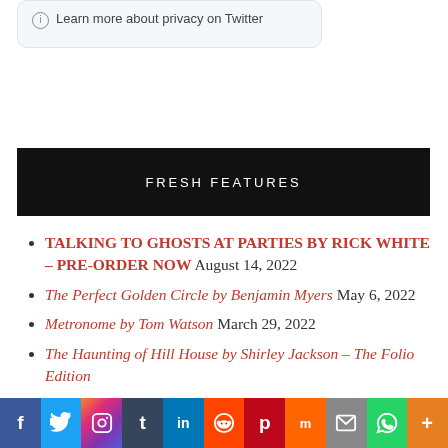Learn more about privacy on Twitter
FRESH FEATURES
TALKING TO GHOSTS AT PARTIES BY RICK WHITE – PRE-ORDER NOW August 14, 2022
The Perfect Golden Circle by Benjamin Myers May 6, 2022
Metronome by Tom Watson March 29, 2022
The Haunting of Hill House by Shirley Jackson – The Folio Edition